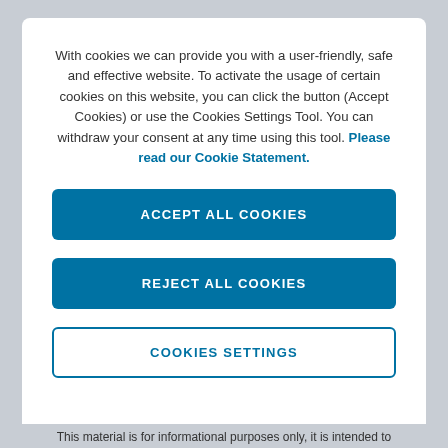With cookies we can provide you with a user-friendly, safe and effective website. To activate the usage of certain cookies on this website, you can click the button (Accept Cookies) or use the Cookies Settings Tool. You can withdraw your consent at any time using this tool. Please read our Cookie Statement.
ACCEPT ALL COOKIES
REJECT ALL COOKIES
COOKIES SETTINGS
This material is for informational purposes only, it is intended to